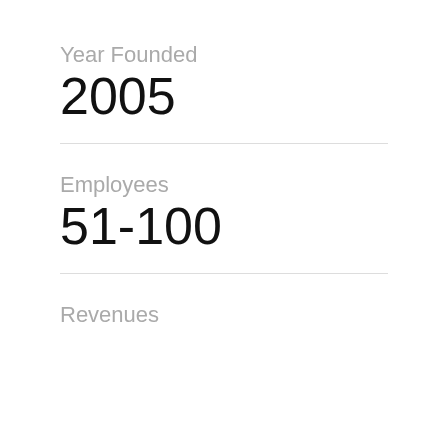Year Founded
2005
Employees
51-100
Revenues